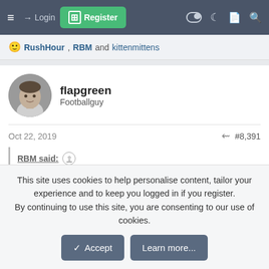≡  → Login  ⊞ Register
🙂 RushHour, RBM and kittenmittens
flapgreen
Footballguy
Oct 22, 2019   #8,391
RBM said: ↑
Brian Baldinger on the running game
Baldy is awesome
This site uses cookies to help personalise content, tailor your experience and to keep you logged in if you register.
By continuing to use this site, you are consenting to our use of cookies.
✓ Accept   Learn more...